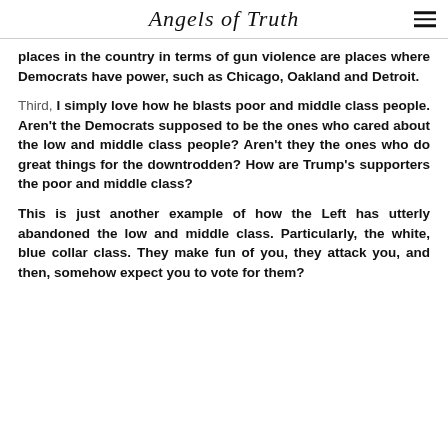Angels of Truth
places in the country in terms of gun violence are places where Democrats have power, such as Chicago, Oakland and Detroit.
Third, I simply love how he blasts poor and middle class people. Aren't the Democrats supposed to be the ones who cared about the low and middle class people? Aren't they the ones who do great things for the downtrodden? How are Trump's supporters the poor and middle class?
This is just another example of how the Left has utterly abandoned the low and middle class. Particularly, the white, blue collar class. They make fun of you, they attack you, and then, somehow expect you to vote for them?